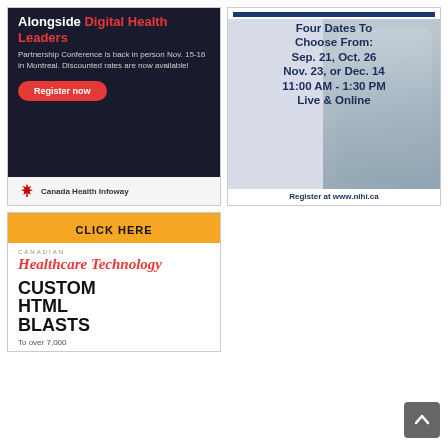[Figure (infographic): Canada Health Infoway advertisement. Dark navy background with red and white text: 'Alongside Digital Health Leaders'. Body text: 'Partnership Conference is back in person Nov. 15-16 in Montreal. Discounted rates are now available!' Red rounded button: 'Register now'. Light gray footer with Canada Health Infoway maple leaf logo and text.]
[Figure (infographic): NIHI advertisement with photo of person sitting with head in hands. Dark blue text overlay: 'Four Dates To Choose From: Sep. 21, Oct. 26 Nov. 23, or Dec. 14 11:00 AM - 1:30 PM Live & Online'. Bottom text: 'Register at www.nihi.ca']
[Figure (infographic): Canadian Healthcare Technology advertisement. Yellow top bar with 'CLICK HERE' in bold black. White body with red italic logo text 'Healthcare Technology' with small 'CANADIAN' above. Large bold black text: 'CUSTOM HTML BLASTS'. Partial bottom text cut off.]